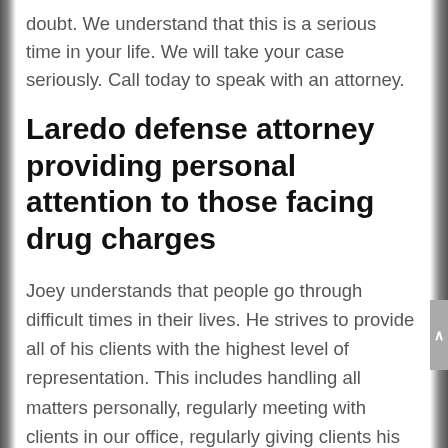doubt. We understand that this is a serious time in your life. We will take your case seriously. Call today to speak with an attorney.
Laredo defense attorney providing personal attention to those facing drug charges
Joey understands that people go through difficult times in their lives. He strives to provide all of his clients with the highest level of representation. This includes handling all matters personally, regularly meeting with clients in our office, regularly giving clients his cell phone number, and making himself available to answer your questions. Joey founded our firm on the belief that everyone is entitled to respect and we apply this belief to